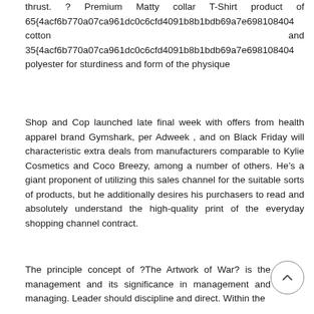thrust. ? Premium Matty collar T-Shirt product of 65{4acf6b770a07ca961dc0c6cfd4091b8b1bdb69a7e698108404 cotton and 35{4acf6b770a07ca961dc0c6cfd4091b8b1bdb69a7e698108404 polyester for sturdiness and form of the physique
Shop and Cop launched late final week with offers from health apparel brand Gymshark, per Adweek , and on Black Friday will characteristic extra deals from manufacturers comparable to Kylie Cosmetics and Coco Breezy, among a number of others. He’s a giant proponent of utilizing this sales channel for the suitable sorts of products, but he additionally desires his purchasers to read and absolutely understand the high-quality print of the everyday shopping channel contract.
The principle concept of ?The Artwork of War? is the management and its significance in management and managing. Leader should discipline and direct. Within the